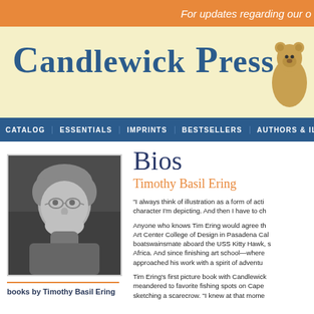For updates regarding our o
[Figure (logo): Candlewick Press logo with bear illustration on yellow background]
CATALOG   ESSENTIALS   IMPRINTS   BESTSELLERS   AUTHORS & ILLUSTRATORS
Bios
Timothy Basil Ering
[Figure (photo): Black and white photograph of Timothy Basil Ering, a man with curly hair and glasses, smiling]
books by Timothy Basil Ering
“I always think of illustration as a form of acti character I’m depicting. And then I have to ch
Anyone who knows Tim Ering would agree th Art Center College of Design in Pasadena Cal boatswainsmate aboard the USS Kitty Hawk, s Africa. And since finishing art school—where approached his work with a spirit of adventu
Tim Ering’s first picture book with Candlewick meandered to favorite fishing spots on Cape sketching a scarecrow. “I knew at that mome